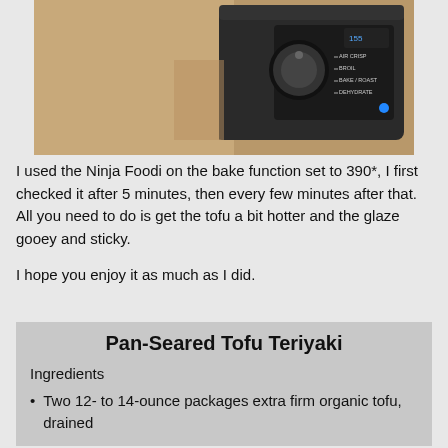[Figure (photo): Photo of a Ninja Foodi air fryer/oven appliance showing the control panel with settings including Air Crisp, Broil, Bake/Roast, Dehydrate]
I used the Ninja Foodi on the bake function set to 390*, I first checked it after 5 minutes, then every few minutes after that. All you need to do is get the tofu a bit hotter and the glaze gooey and sticky.
I hope you enjoy it as much as I did.
Pan-Seared Tofu Teriyaki
Ingredients
Two 12- to 14-ounce packages extra firm organic tofu, drained